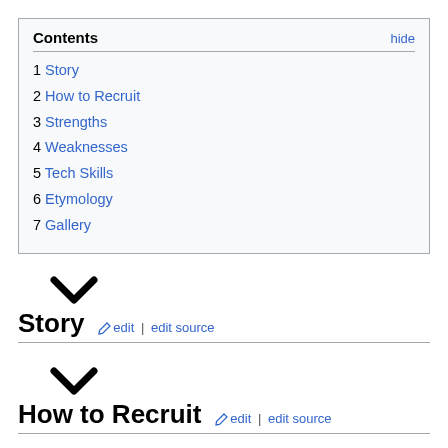| Contents | hide |
| --- | --- |
| 1 Story |
| 2 How to Recruit |
| 3 Strengths |
| 4 Weaknesses |
| 5 Tech Skills |
| 6 Etymology |
| 7 Gallery |
[Figure (other): Chevron/collapse arrow icon]
Story
[Figure (other): Chevron/collapse arrow icon]
How to Recruit